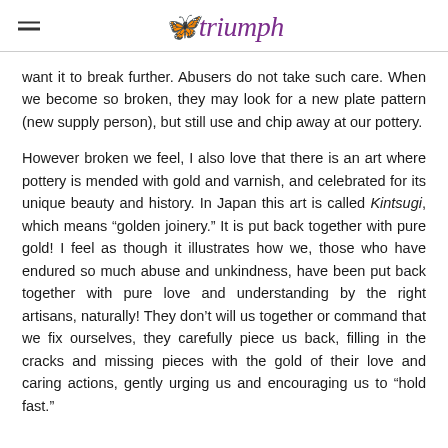triumph
want it to break further. Abusers do not take such care. When we become so broken, they may look for a new plate pattern (new supply person), but still use and chip away at our pottery.
However broken we feel, I also love that there is an art where pottery is mended with gold and varnish, and celebrated for its unique beauty and history. In Japan this art is called Kintsugi, which means "golden joinery." It is put back together with pure gold! I feel as though it illustrates how we, those who have endured so much abuse and unkindness, have been put back together with pure love and understanding by the right artisans, naturally! They don't will us together or command that we fix ourselves, they carefully piece us back, filling in the cracks and missing pieces with the gold of their love and caring actions, gently urging us and encouraging us to "hold fast."